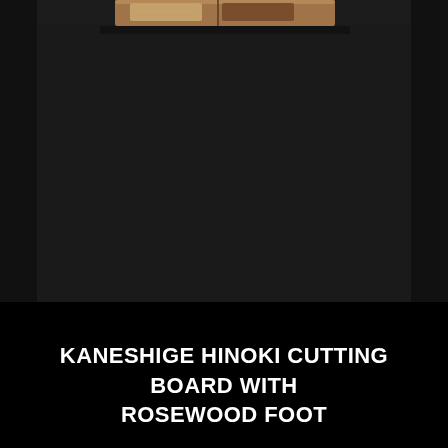[Figure (photo): Partial view of a Kaneshige Hinoki cutting board with rosewood foot on a dark background. The top portion of the wooden cutting board is visible against a dark gray/black surface.]
KANESHIGE HINOKI CUTTING BOARD WITH ROSEWOOD FOOT